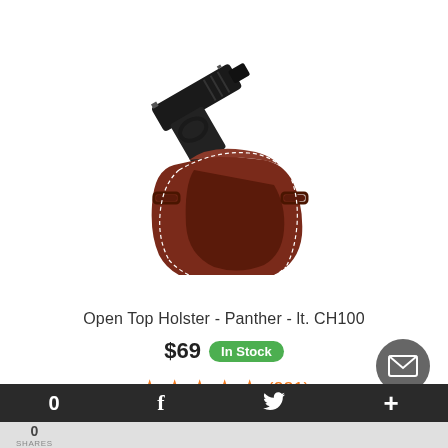[Figure (photo): Brown leather open top holster with a black semi-automatic pistol inserted, showing belt slots on both sides and white stitching detail]
Open Top Holster - Panther - lt. CH100
$69  In Stock
★★★★★ (231)
0  SHARES  f  (twitter bird)  +